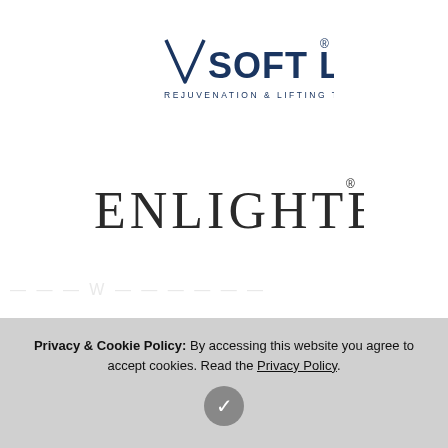[Figure (logo): VSoft Lift logo — text reads 'VSOFT LIFT' with a V-shape graphic on the left, subtitle 'REJUVENATION & LIFTING THREADS'. Dark navy blue color.]
[Figure (logo): ENLIGHTEN logo — large thin uppercase letters in dark charcoal/dark olive color, with registered trademark symbol.]
[Figure (logo): Philips Zoom! logo — 'PHILIPS' in bold blue uppercase, curved blue line, 'ZOOM!' in bold blue with a dark navy underline bar.]
[Figure (other): Scroll-to-top button: circular pink/magenta button with upward-pointing chevron arrow, positioned bottom-right area.]
[Figure (other): reCAPTCHA badge partial — Google reCAPTCHA robot icon in white box, right edge of page.]
Privacy & Cookie Policy: By accessing this website you agree to accept cookies. Read the Privacy Policy.